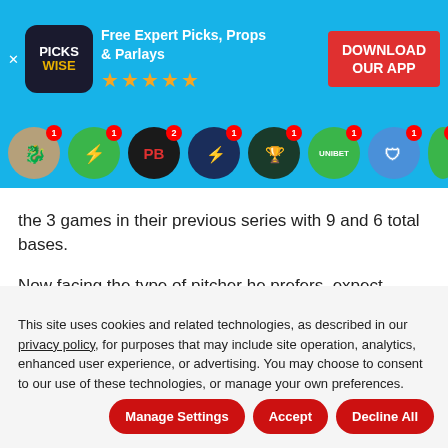[Figure (screenshot): Pickswise app promotional banner with logo, star rating, and Download Our App button on blue background]
[Figure (screenshot): Row of sports betting app icons on blue background with notification badges]
the 3 games in their previous series with 9 and 6 total bases.
Now facing the type of pitcher he prefers, expect Abreu to help Chicago as they try and pull off the upset.
Make sure you also read our same game parlay for tonight's Guardians vs Dodgers matchup
This site uses cookies and related technologies, as described in our privacy policy, for purposes that may include site operation, analytics, enhanced user experience, or advertising. You may choose to consent to our use of these technologies, or manage your own preferences.